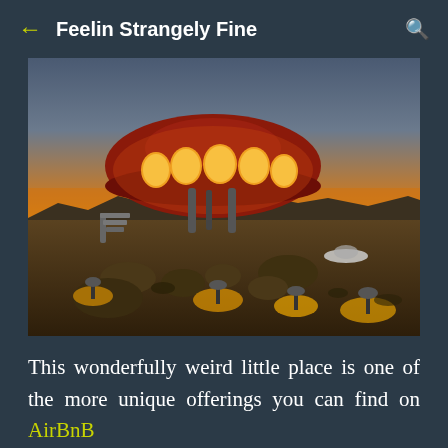← Feelin Strangely Fine 🔍
[Figure (photo): A UFO-shaped Futuro house (red/maroon saucer shape with oval windows lit from inside glowing orange) elevated on legs, set in a rocky desert landscape at sunset/dusk with golden-orange sky. Ground-level mushroom-shaped lamps glow amber around the structure. Small UFO-shaped decorative item visible to the right.]
This wonderfully weird little place is one of the more unique offerings you can find on AirBnB